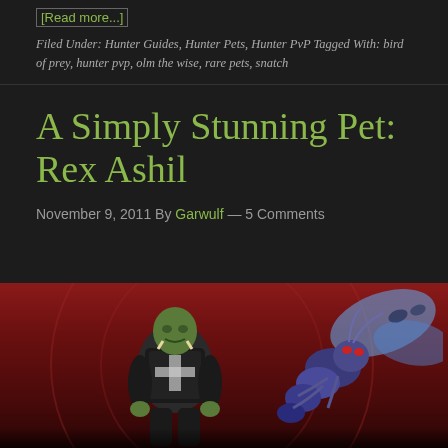[Read more...]
Filed Under: Hunter Guides, Hunter Pets, Hunter PvP Tagged With: bird of prey, hunter pvp, olm the wise, rare pets, snatch
A Simply Stunning Pet: Rex Ashil
November 9, 2011 By Garwulf — 5 Comments
[Figure (photo): Screenshot from a video game showing an orc character in black and white armor standing in a reddish dungeon environment, with a large blue insect/wasp pet (Rex Ashil) beside them. Background features decorative circular architecture in red tones.]